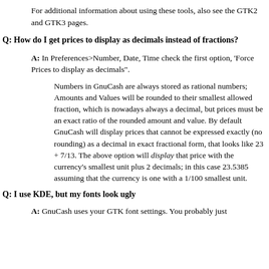For additional information about using these tools, also see the GTK2 and GTK3 pages.
Q: How do I get prices to display as decimals instead of fractions?
A: In Preferences>Number, Date, Time check the first option, 'Force Prices to display as decimals".
Numbers in GnuCash are always stored as rational numbers; Amounts and Values will be rounded to their smallest allowed fraction, which is nowadays always a decimal, but prices must be an exact ratio of the rounded amount and value. By default GnuCash will display prices that cannot be expressed exactly (no rounding) as a decimal in exact fractional form, that looks like 23 + 7/13. The above option will display that price with the currency's smallest unit plus 2 decimals; in this case 23.5385 assuming that the currency is one with a 1/100 smallest unit.
Q: I use KDE, but my fonts look ugly
A: GnuCash uses your GTK font settings. You probably just